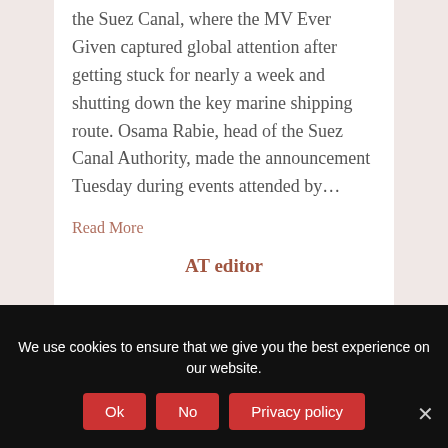the Suez Canal, where the MV Ever Given captured global attention after getting stuck for nearly a week and shutting down the key marine shipping route. Osama Rabie, head of the Suez Canal Authority, made the announcement Tuesday during events attended by…
Read More
AT editor
We use cookies to ensure that we give you the best experience on our website.